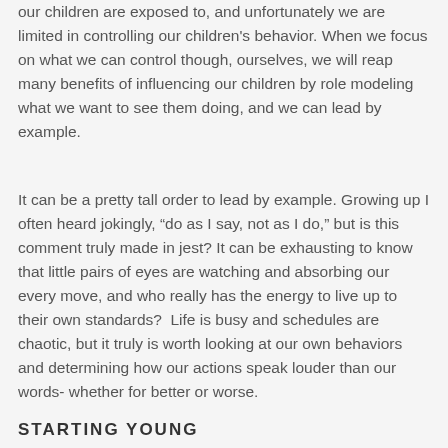our children are exposed to, and unfortunately we are limited in controlling our children's behavior. When we focus on what we can control though, ourselves, we will reap many benefits of influencing our children by role modeling what we want to see them doing, and we can lead by example.
It can be a pretty tall order to lead by example. Growing up I often heard jokingly, “do as I say, not as I do,” but is this comment truly made in jest? It can be exhausting to know that little pairs of eyes are watching and absorbing our every move, and who really has the energy to live up to their own standards?  Life is busy and schedules are chaotic, but it truly is worth looking at our own behaviors and determining how our actions speak louder than our words- whether for better or worse.
STARTING YOUNG